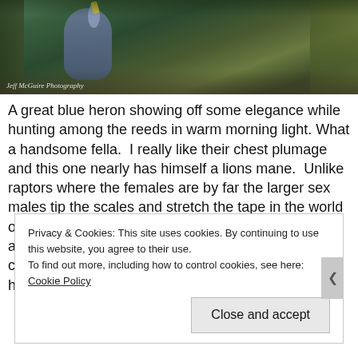[Figure (photo): A great blue heron photographed among reeds in warm morning light. The bird is prominent against a background of green reeds and muddy water. A watermark reads 'Jeff McGuire Photography' in the lower left.]
A great blue heron showing off some elegance while hunting among the reeds in warm morning light. What a handsome fella.  I really like their chest plumage and this one nearly has himself a lions mane.  Unlike raptors where the females are by far the larger sex males tip the scales and stretch the tape in the world of herons. This big fella was a real diva for attention and wasn't disturbed by me in the least. He just checked me out, gave me a smile and went back to hunting.
Privacy & Cookies: This site uses cookies. By continuing to use this website, you agree to their use.
To find out more, including how to control cookies, see here: Cookie Policy